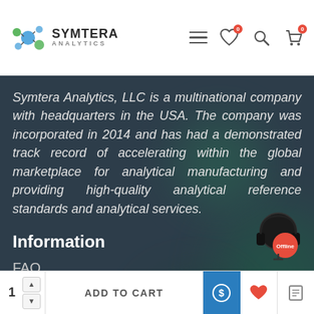Symtera Analytics — navigation header with logo, hamburger menu, wishlist (0), search, and cart (0) icons
Symtera Analytics, LLC is a multinational company with headquarters in the USA. The company was incorporated in 2014 and has had a demonstrated track record of accelerating within the global marketplace for analytical manufacturing and providing high-quality analytical reference standards and analytical services.
Information
FAQ
Blog
[Figure (infographic): Offline chat widget showing a headphone icon with a red circle labeled 'Offline' in the bottom right corner of the content area]
1 | ADD TO CART | [dollar icon] [heart icon] [list icon]